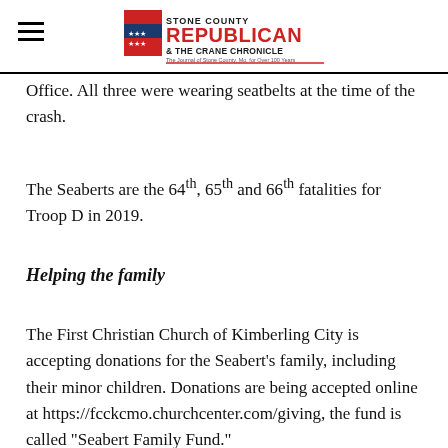Stone County Republican & The Crane Chronicle
Office. All three were wearing seatbelts at the time of the crash.
The Seaberts are the 64th, 65th and 66th fatalities for Troop D in 2019.
Helping the family
The First Christian Church of Kimberling City is accepting donations for the Seabert’s family, including their minor children. Donations are being accepted online at https://fcckcmo.churchcenter.com/giving, the fund is called “Seabert Family Fund.”